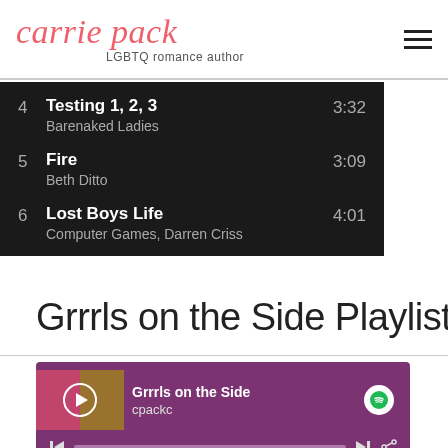carrie pack — LGBTQ romance author
4  Testing 1, 2, 3  3:32
Barenaked Ladies
5  Fire  3:09
Beth Ditto
6  Lost Boys Life  4:01
Computer Games, Darren Criss
Grrrls on the Side Playlist
[Figure (screenshot): Spotify embedded player showing 'Grrrls on the Side' playlist by cpackc with playback controls and progress bar]
1  Cool Schmool  2:01
Bratmobile